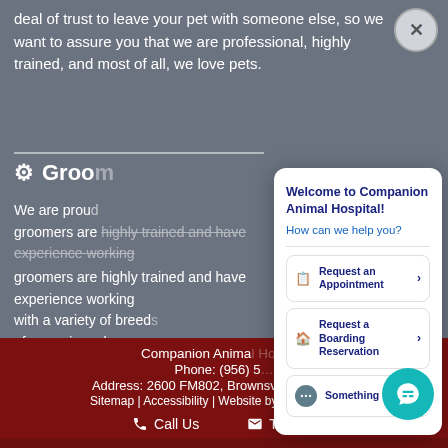deal of trust to leave your pet with someone else, so we want to assure you that we are professional, highly trained, and most of all, we love pets.
⚙ Grooming
We are proud... groomers are highly trained and have experience working with a variety of breeds... of grooming, please co...
[Figure (screenshot): Chat popup panel: Welcome to Companion Animal Hospital! How can we help you? with three buttons: Request an Appointment, Request a Boarding Reservation, Something else]
Companion Animal Hospital | Phone: (956) 5... | Address: 2600 FM802, Brownsville, TX 78526 | Sitemap | Accessibility | Website by DOCTOR M... | Call Us | Text Us